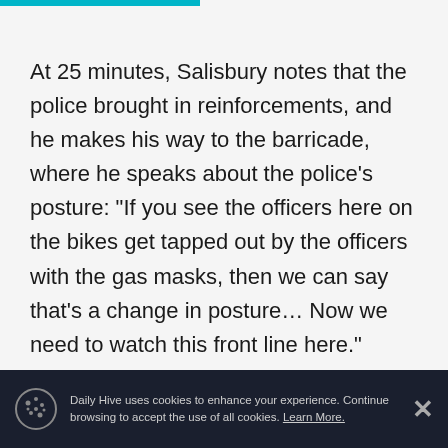At 25 minutes, Salisbury notes that the police brought in reinforcements, and he makes his way to the barricade, where he speaks about the police’s posture: “If you see the officers here on the bikes get tapped out by the officers with the gas masks, then we can say that’s a change in posture… Now we need to watch this front line here.”
At around 28 minutes, the unmasked police officers are then swapped out for ones in gas masks.
Daily Hive uses cookies to enhance your experience. Continue browsing to accept the use of all cookies. Learn More.